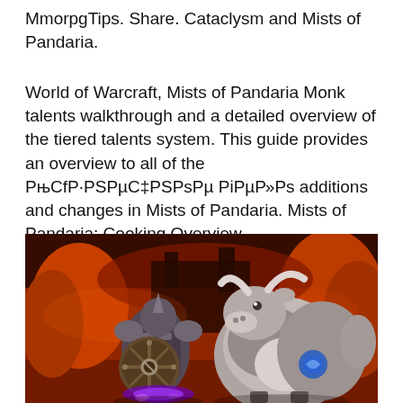MmorpgTips. Share. Cataclysm and Mists of Pandaria.
World of Warcraft, Mists of Pandaria Monk talents walkthrough and a detailed overview of the tiered talents system. This guide provides an overview to all of the РњСГР·РСРµС‡РСРсРµ РіРµР»Рс additions and changes in Mists of Pandaria. Mists of Pandaria: Cooking Overview.
[Figure (screenshot): World of Warcraft game screenshot showing two characters in a fiery environment. On the left is a heavily armored character with a large mechanical wheel/shield with glowing purple energy at its base. On the right is a large creature that appears to be a bull or tauren with grey/white fur and a blue glyph on its side. The background shows orange-red rocky terrain and burning landscape.]